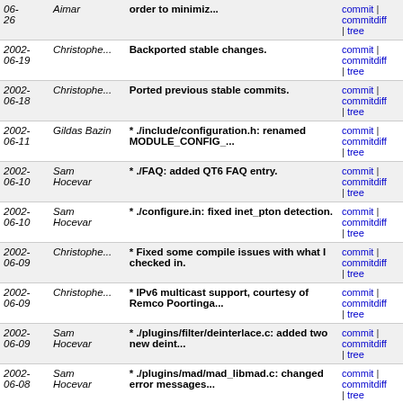| Date | Author | Message | Links |
| --- | --- | --- | --- |
| 2002-06-26 | Aimar | order to minimiz... | commit | commitdiff | tree |
| 2002-06-19 | Christophe... | Backported stable changes. | commit | commitdiff | tree |
| 2002-06-18 | Christophe... | Ported previous stable commits. | commit | commitdiff | tree |
| 2002-06-11 | Gildas Bazin | * ./include/configuration.h: renamed MODULE_CONFIG_... | commit | commitdiff | tree |
| 2002-06-10 | Sam Hocevar | * ./FAQ: added QT6 FAQ entry. | commit | commitdiff | tree |
| 2002-06-10 | Sam Hocevar | * ./configure.in: fixed inet_pton detection. | commit | commitdiff | tree |
| 2002-06-09 | Christophe... | * Fixed some compile issues with what I checked in. | commit | commitdiff | tree |
| 2002-06-09 | Christophe... | * IPv6 multicast support, courtesy of Remco Poortinga... | commit | commitdiff | tree |
| 2002-06-09 | Sam Hocevar | * ./plugins/filter/deinterlace.c: added two new deint... | commit | commitdiff | tree |
| 2002-06-08 | Sam Hocevar | * ./plugins/mad/mad_libmad.c: changed error messages... | commit | commitdiff | tree |
| 2002-06-08 | Sam Hocevar | * ./plugins/macosx/*: additional minor fixes. | commit | commitdiff | tree |
| 2002-06-08 | Sam Hocevar | * ./plugins/macosx/vout_macosx.m, ./plugins/macosx... | commit | commitdiff | tree |
| 2002-06-08 | Sam Hocevar | * ./include/vlc_threads.h, ./src/misc/threads.c:... | commit | commitdiff | tree |
| 2002-06-08 | Loïc Minier | * ./plugins/xosd/xosd.c: a couple | commit | commitdiff |